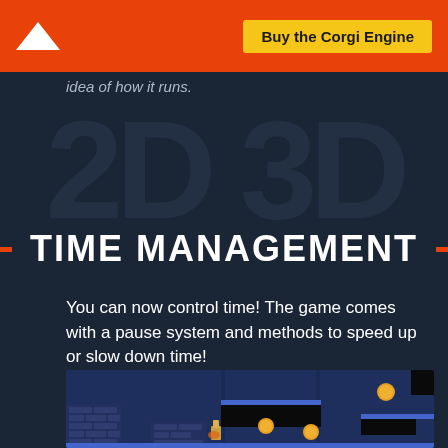Buy the Corgi Engine
idea of how it runs.
TIME MANAGEMENT
You can now control time! The game comes with a pause system and methods to speed up or slow down time!
[Figure (screenshot): A 2D platformer game screenshot showing a dark blue level with brick platforms, black obstacles, a small character sprite, and glowing coin/enemy sprites on a dark blue background.]